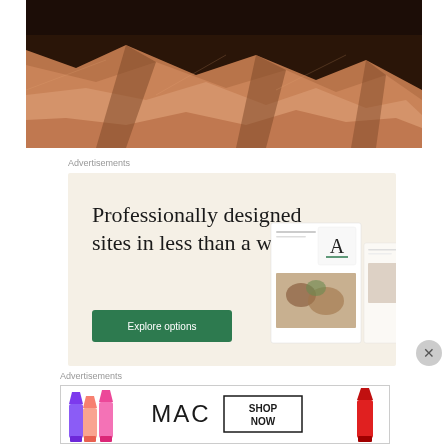[Figure (photo): Aerial or close-up photo of reddish-brown desert rock formations with ridges and shadows, resembling Death Valley badlands.]
Advertisements
[Figure (screenshot): Squarespace advertisement with cream background. Large serif text reads 'Professionally designed sites in less than a week'. Green button labeled 'Explore options'. Right side shows mockup screenshots of websites.]
Advertisements
[Figure (screenshot): MAC Cosmetics advertisement showing lipsticks on left, MAC logo in center, and 'SHOP NOW' text in a box on the right with a red lipstick on far right.]